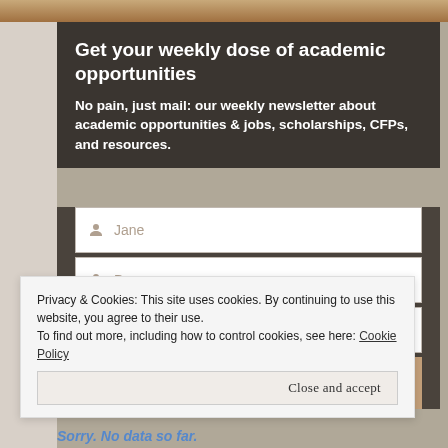[Figure (photo): Top decorative image strip with warm brown/tan tones]
Get your weekly dose of academic opportunities
No pain, just mail: our weekly newsletter about academic opportunities & jobs, scholarships, CFPs, and resources.
[Figure (screenshot): Sign-up form with fields for Jane (first name), Doe (last name), Jane@doe.com (email), and a Submit button]
Privacy & Cookies: This site uses cookies. By continuing to use this website, you agree to their use.
To find out more, including how to control cookies, see here: Cookie Policy
Close and accept
Sorry. No data so far.